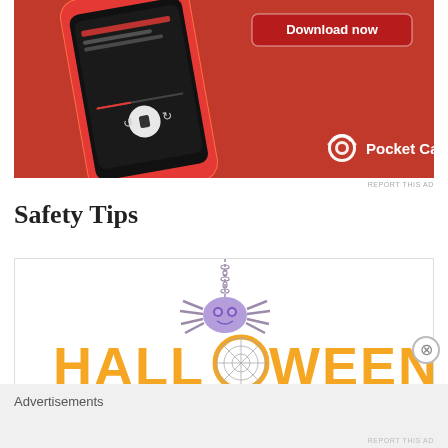[Figure (screenshot): Pocket Casts app advertisement with red background, smartphone showing podcast player interface, 'Download now' button, and Pocket Casts logo]
REPORT THIS AD
Safety Tips
[Figure (infographic): Halloween Safety Tips infographic with a purple cartoon spider hanging from a chain, large orange 'HALLOWEEN' text with a spiderweb replacing the 'O', and dark text 'SAFETY TIPS' partially visible below]
Advertisements
REPORT THIS AD